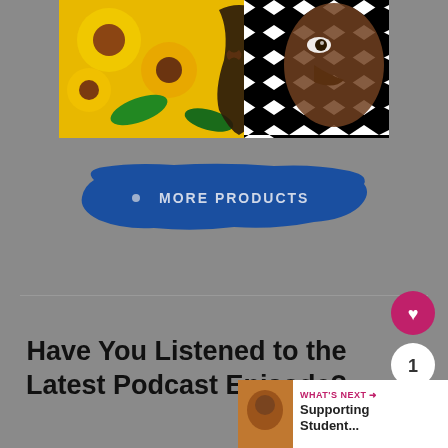[Figure (illustration): Composite artwork image showing Van Gogh-style sunflowers on the left, a musical instrument (cello/violin) in the center, and black-and-white zigzag patterns with a dark bird/mask image on the right]
[Figure (infographic): Blue paint-brush-stroke shaped button with text MORE PRODUCTS and a small arrow on the left]
Have You Listened to the Latest Podcast Episode?
[Figure (infographic): WHAT'S NEXT arrow label with Supporting Student... text and a thumbnail image, positioned bottom right]